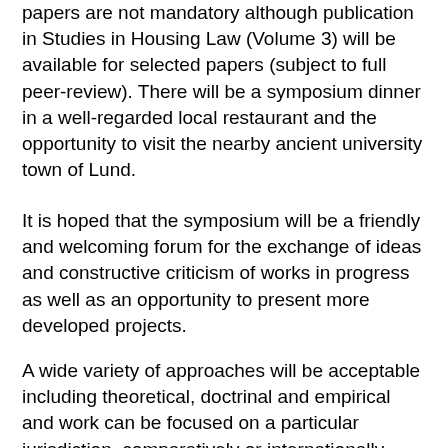papers are not mandatory although publication in Studies in Housing Law (Volume 3) will be available for selected papers (subject to full peer-review). There will be a symposium dinner in a well-regarded local restaurant and the opportunity to visit the nearby ancient university town of Lund.
It is hoped that the symposium will be a friendly and welcoming forum for the exchange of ideas and constructive criticism of works in progress as well as an opportunity to present more developed projects.
A wide variety of approaches will be acceptable including theoretical, doctrinal and empirical and work can be focused on a particular jurisdiction, comparatively or internationally. Possible topics include: Development of international housing rights discourse Nuisance, neighbours and anti-social behaviour Article 8 ECHR